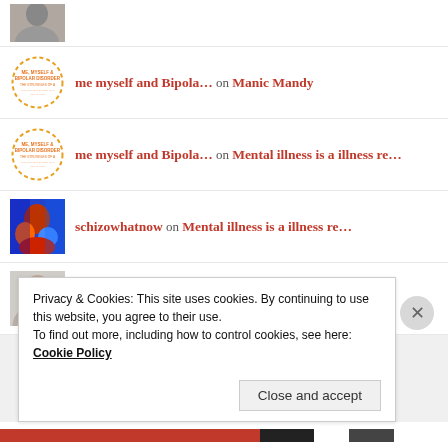[Figure (photo): Avatar of a person (partial, top of page)]
me myself and Bipola… on Manic Mandy
[Figure (logo): Me Myself and Bipolar disorder circular logo with orange dashed border]
me myself and Bipola… on Mental illness is a illness re…
[Figure (logo): Me Myself and Bipolar disorder circular logo with orange dashed border]
schizowhatnow on Mental illness is a illness re…
[Figure (photo): Colorized/heat-mapped avatar photo]
Evonne Tirado on Manic Mandy
[Figure (photo): Avatar photo of Evonne Tirado]
Privacy & Cookies: This site uses cookies. By continuing to use this website, you agree to their use.
To find out more, including how to control cookies, see here: Cookie Policy
Close and accept